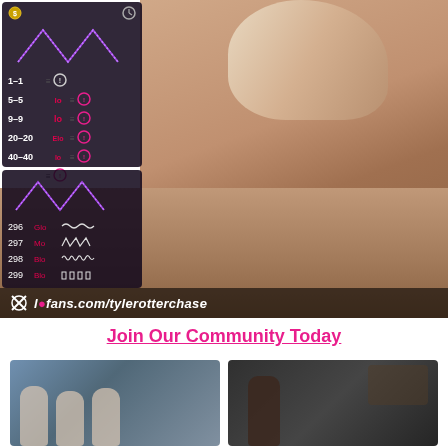[Figure (screenshot): Video screenshot showing a close-up scene with an overlay panel on the left displaying vibration settings (1-1, 5-5, 9-9, 20-20, 40-40, 60-60) with purple waveform charts, and rows 296-299 with waveform icons. Watermark reads 'l●fans.com/tylerotterchase'.]
Join Our Community Today
[Figure (photo): Two thumbnail images side by side at the bottom of the page showing video previews.]